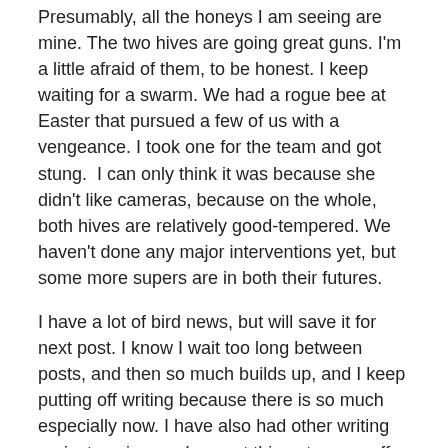Presumably, all the honeys I am seeing are mine. The two hives are going great guns. I'm a little afraid of them, to be honest. I keep waiting for a swarm. We had a rogue bee at Easter that pursued a few of us with a vengeance. I took one for the team and got stung.  I can only think it was because she didn't like cameras, because on the whole, both hives are relatively good-tempered. We haven't done any major interventions yet, but some more supers are in both their futures.
I have a lot of bird news, but will save it for next post. I know I wait too long between posts, and then so much builds up, and I keep putting off writing because there is so much especially now. I have also had other writing projects going on. I expect things to ease off, but that doesn't mean I will be a reformed character…